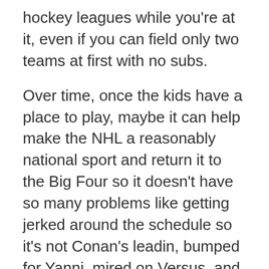hockey leagues while you're at it, even if you can field only two teams at first with no subs.
Over time, once the kids have a place to play, maybe it can help make the NHL a reasonably national sport and return it to the Big Four so it doesn't have so many problems like getting jerked around the schedule so it's not Conan's leadin, bumped for Yanni, mired on Versus, and other such stupid, stupid, idiotic things.
(Actually, having the same teams as last year could serve as a good control for whether NBC's first two games should be 1 and 2 instead of 3 and 4 long-term, a change I've liked for at least a year no matter what circumstances brought it about. And I